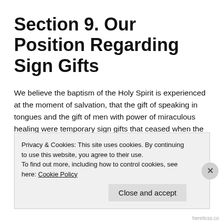Section 9. Our Position Regarding Sign Gifts
We believe the baptism of the Holy Spirit is experienced at the moment of salvation, that the gift of speaking in tongues and the gift of men with power of miraculous healing were temporary sign gifts that ceased when the Bible was completed.
(Acts 2:38, Acts 10:44-45, Romans 8:9, I Cor. 2:12, 3:16, 6:19, 12:3,7,13, 13:8-10, II Cor. 12:7-10, Gal. 3:2,14, 4:6, Eph. 1:13-14, I Tim. 5:23, II Tim. 4:20, Rev. 13:12-15)
Privacy & Cookies: This site uses cookies. By continuing to use this website, you agree to their use.
To find out more, including how to control cookies, see here: Cookie Policy
Close and accept